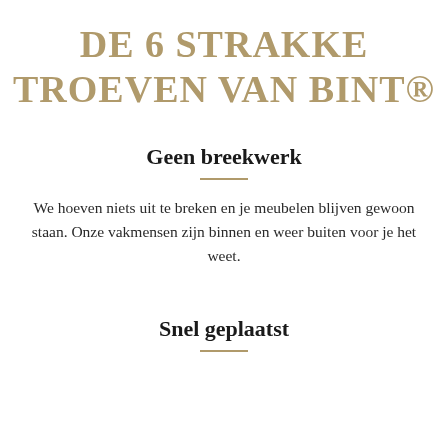DE 6 STRAKKE TROEVEN VAN BINT®
Geen breekwerk
We hoeven niets uit te breken en je meubelen blijven gewoon staan. Onze vakmensen zijn binnen en weer buiten voor je het weet.
Snel geplaatst